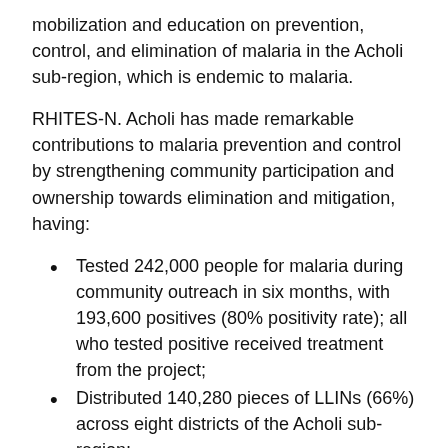mobilization and education on prevention, control, and elimination of malaria in the Acholi sub-region, which is endemic to malaria.
RHITES-N. Acholi has made remarkable contributions to malaria prevention and control by strengthening community participation and ownership towards elimination and mitigation, having:
Tested 242,000 people for malaria during community outreach in six months, with 193,600 positives (80% positivity rate); all who tested positive received treatment from the project;
Distributed 140,280 pieces of LLINs (66%) across eight districts of the Acholi sub-region;